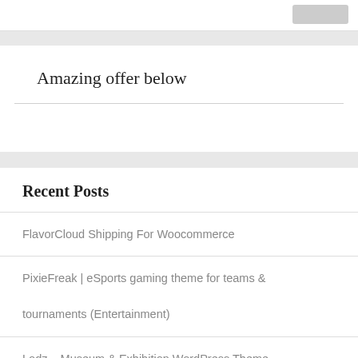Amazing offer below
Recent Posts
FlavorCloud Shipping For Woocommerce
PixieFreak | eSports gaming theme for teams & tournaments (Entertainment)
Lodz – Museum & Exhibition WordPress Theme (Nonprofit)